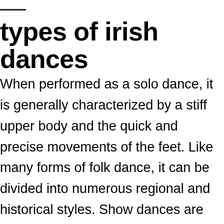types of irish dances
When performed as a solo dance, it is generally characterized by a stiff upper body and the quick and precise movements of the feet. Like many forms of folk dance, it can be divided into numerous regional and historical styles. Show dances are specifically choreographed for the stage and can be either soft shoe or hard shoe, usually involving many dancers at once making different formations and dancing to upbeat music comprised